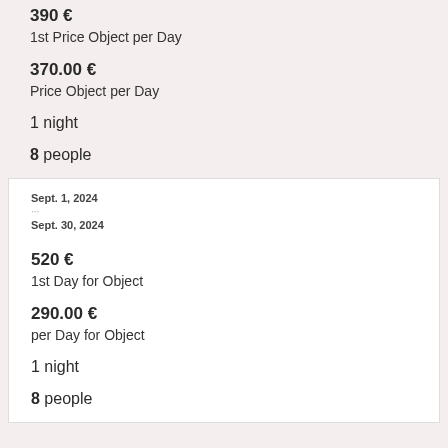1st Price Object per Day
370.00 € Price Object per Day
1 night
8 people
Sept. 1, 2024 ... Sept. 30, 2024
520 € 1st Day for Object
290.00 € per Day for Object
1 night
8 people